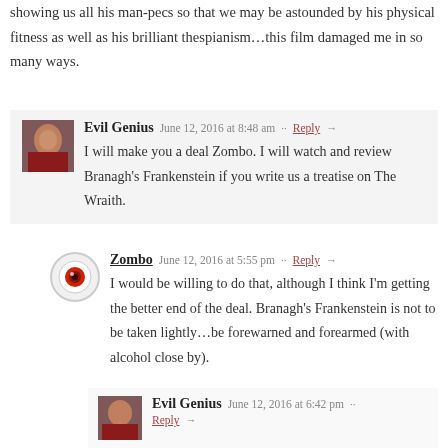showing us all his man-pecs so that we may be astounded by his physical fitness as well as his brilliant thespianism…this film damaged me in so many ways.
Evil Genius · June 12, 2016 at 8:48 am · Reply → I will make you a deal Zombo. I will watch and review Branagh's Frankenstein if you write us a treatise on The Wraith.
Zombo · June 12, 2016 at 5:55 pm · Reply → I would be willing to do that, although I think I'm getting the better end of the deal. Branagh's Frankenstein is not to be taken lightly…be forewarned and forearmed (with alcohol close by).
Evil Genius · June 12, 2016 at 6:42 pm · Reply →